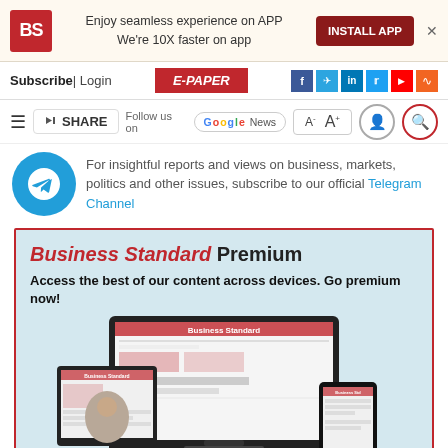[Figure (screenshot): Business Standard logo (red square with BS text)]
Enjoy seamless experience on APP
We're 10X faster on app
INSTALL APP
Subscribe| Login
E-PAPER
[Figure (infographic): Social media icons: Facebook, Telegram, LinkedIn, Twitter, YouTube, RSS]
Follow us on
[Figure (logo): Google News badge]
A- A+
For insightful reports and views on business, markets, politics and other issues, subscribe to our official Telegram Channel
Business Standard Premium
Access the best of our content across devices. Go premium now!
[Figure (screenshot): Business Standard website shown on laptop, tablet and mobile devices]